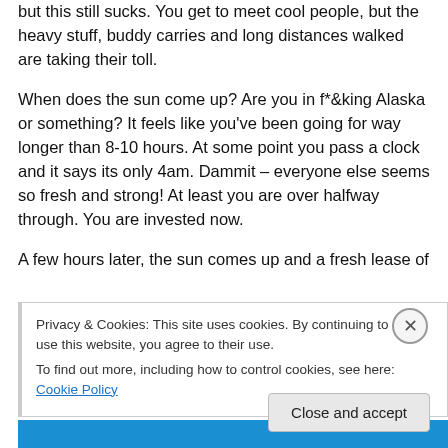but this still sucks. You get to meet cool people, but the heavy stuff, buddy carries and long distances walked are taking their toll.
When does the sun come up? Are you in f*&king Alaska or something? It feels like you've been going for way longer than 8-10 hours. At some point you pass a clock and it says its only 4am. Dammit – everyone else seems so fresh and strong! At least you are over halfway through. You are invested now.
A few hours later, the sun comes up and a fresh lease of
Privacy & Cookies: This site uses cookies. By continuing to use this website, you agree to their use.
To find out more, including how to control cookies, see here: Cookie Policy